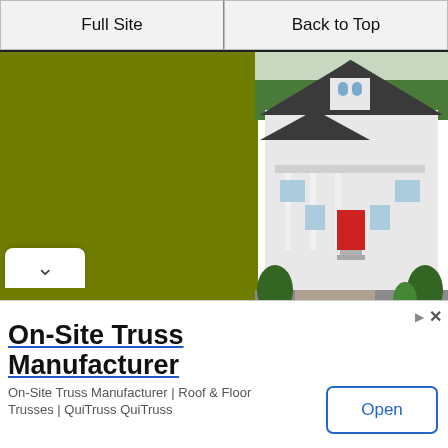Full Site | Back to Top
[Figure (photo): White farmhouse with dark roof, red front door, covered porch, stone driveway and green lawn]
Farm House Design Regional Riches!
[Figure (photo): Farmhouse with white roof peaks and chimney against blue sky]
On-Site Truss Manufacturer
On-Site Truss Manufacturer | Roof & Floor Trusses | QuiTruss QuiTruss
Open